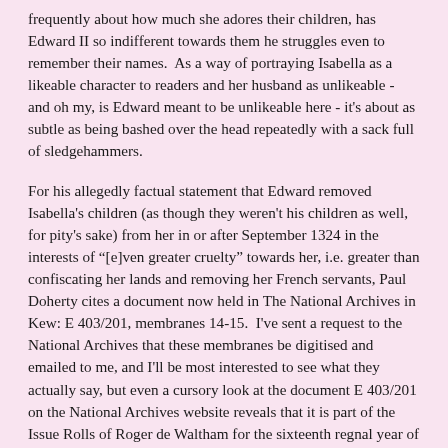frequently about how much she adores their children, has Edward II so indifferent towards them he struggles even to remember their names.  As a way of portraying Isabella as a likeable character to readers and her husband as unlikeable - and oh my, is Edward meant to be unlikeable here - it's about as subtle as being bashed over the head repeatedly with a sack full of sledgehammers.
For his allegedly factual statement that Edward removed Isabella's children (as though they weren't his children as well, for pity's sake) from her in or after September 1324 in the interests of "[e]ven greater cruelty" towards her, i.e. greater than confiscating her lands and removing her French servants, Paul Doherty cites a document now held in The National Archives in Kew: E 403/201, membranes 14-15.  I've sent a request to the National Archives that these membranes be digitised and emailed to me, and I'll be most interested to see what they actually say, but even a cursory look at the document E 403/201 on the National Archives website reveals that it is part of the Issue Rolls of Roger de Waltham for the sixteenth regnal year of Edward II, that is, 8 July 1322 to 7 July 1323.  Roger de Waltham was the keeper of Edward's wardrobe from May 1322 to October 1323.  [2]  So whatever this document says about Edward and Isabella's children and their households, it